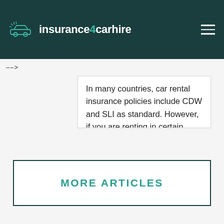insurance4carhire
In many countries, car rental insurance policies include CDW and SLI as standard. However, if you are renting in certain countries, such as those in North, South or Central America, you may need to purchase CDW and SLI separately. View article
MORE ARTICLES